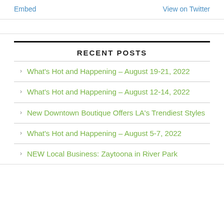Embed    View on Twitter
RECENT POSTS
What's Hot and Happening – August 19-21, 2022
What's Hot and Happening – August 12-14, 2022
New Downtown Boutique Offers LA's Trendiest Styles
What's Hot and Happening – August 5-7, 2022
NEW Local Business: Zaytoona in River Park